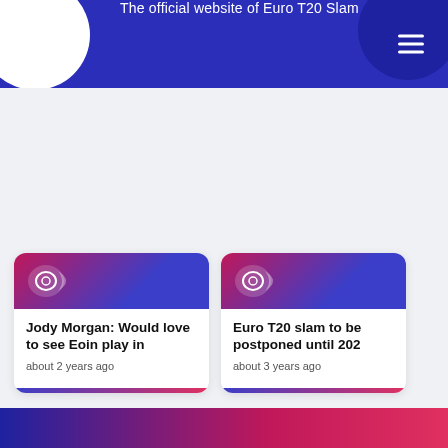The official website of Euro T20 Slam
[Figure (screenshot): Large empty grey content area representing a webpage body]
Jody Morgan: Would love to see Eoin play in
about 2 years ago
Euro T20 slam to be postponed until 202
about 3 years ago